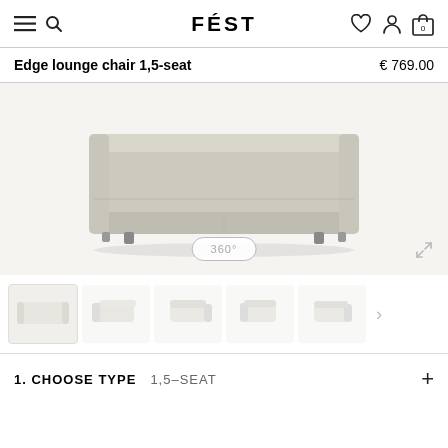FÉST
Edge lounge chair 1,5-seat   € 769.00
[Figure (photo): Front view of Edge lounge chair 1,5-seat in light beige/taupe fabric, rectangular low-profile sofa on small dark feet, 360° rotation button visible, expand icon in bottom right]
[Figure (other): Thumbnail carousel showing 5 product angle views of the Edge lounge chair in white/light color, with right arrow navigation]
1. CHOOSE TYPE   1,5-SEAT   +